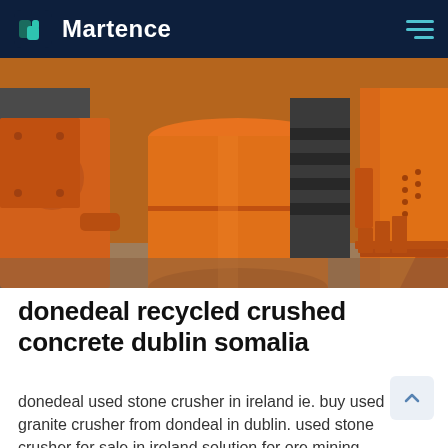Martence
[Figure (photo): Large orange industrial crushing/milling machines photographed outdoors — cylindrical and angular orange metal components, heavy industrial equipment]
donedeal recycled crushed concrete dublin somalia
donedeal used stone crusher in ireland ie. buy used granite crusher from dondeal in dublin. used stone crusher for sale in ireland solution for ore mining